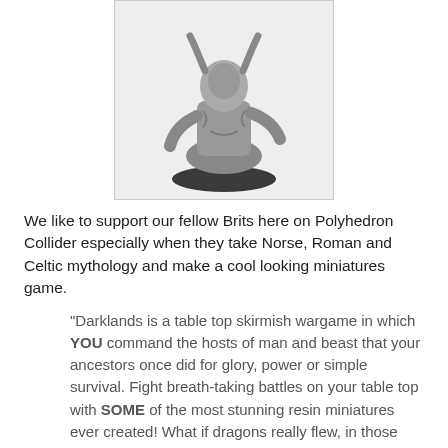[Figure (photo): Black and white photograph of a detailed resin miniature figure on a round base, depicting a creature or warrior in a dynamic pose.]
We like to support our fellow Brits here on Polyhedron Collider especially when they take Norse, Roman and Celtic mythology and make a cool looking miniatures game.
“Darklands is a table top skirmish wargame in which YOU command the hosts of man and beast that your ancestors once did for glory, power or simple survival. Fight breath-taking battles on your table top with SOME of the most stunning resin miniatures ever created! What if dragons really flew, in those ancient times, and, giants really walked the earth? What if berserkers actually wore bear-men, man and bear joined together? What if all of the myths and legends we take for granted were real and our ancestors fought against - and with - creatures and beings